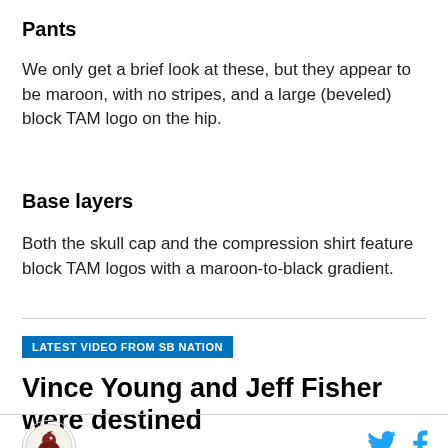Pants
We only get a brief look at these, but they appear to be maroon, with no stripes, and a large (beveled) block TAM logo on the hip.
Base layers
Both the skull cap and the compression shirt feature block TAM logos with a maroon-to-black gradient.
LATEST VIDEO FROM SB NATION
Vince Young and Jeff Fisher were destined
[Figure (logo): Circular logo with bird/animal icon]
[Figure (logo): Twitter bird icon in cyan]
[Figure (logo): Facebook f icon in cyan]